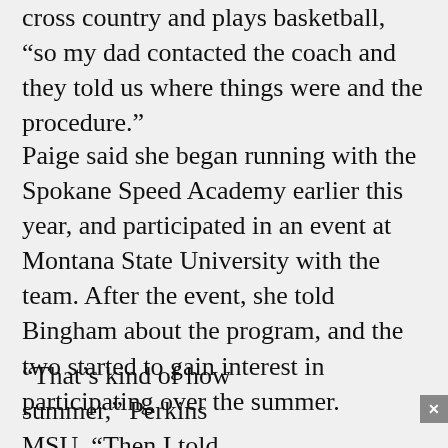cross country and plays basketball, “so my dad contacted the coach and they told us where things were and the procedure.”
Paige said she began running with the Spokane Speed Academy earlier this year, and participated in an event at Montana State University with the team. After the event, she told Bingham about the program, and the two started to gain interest in participating over the summer.
“That’s kind of how [she found out about it this] summer,” Perkins said [after the event at] MSU. “Then I told [Bingham about it and he] practiced with us.”
[Figure (screenshot): A video player overlay showing a black background with a white circular ring (loading spinner or logo) in the center. A small label appears in the top-left of the video. A close button (x) is in the top-right corner of the overlay.]